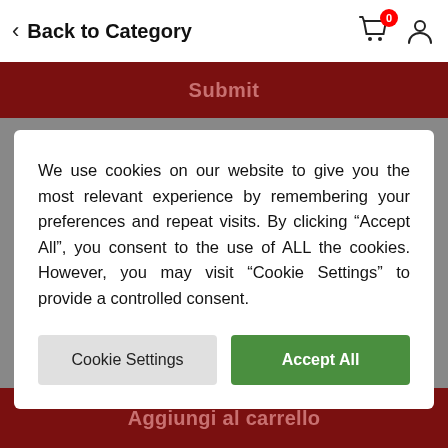Back to Category
Submit
We use cookies on our website to give you the most relevant experience by remembering your preferences and repeat visits. By clicking “Accept All”, you consent to the use of ALL the cookies. However, you may visit “Cookie Settings” to provide a controlled consent.
Cookie Settings | Accept All
Aggiungi al carrello